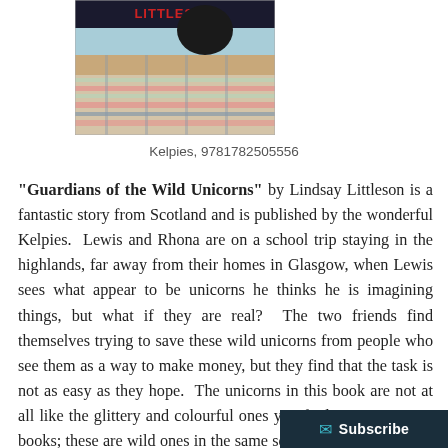[Figure (photo): Book cover of 'Guardians of the Wild Unicorns' by Lindsay Littleson, showing the title 'LITTLESON' at top and a plaid/tartan pattern below]
Kelpies, 9781782505556
"Guardians of the Wild Unicorns" by Lindsay Littleson is a fantastic story from Scotland and is published by the wonderful Kelpies.  Lewis and Rhona are on a school trip staying in the highlands, far away from their homes in Glasgow, when Lewis sees what appear to be unicorns he thinks he is imagining things, but what if they are real?  The two friends find themselves trying to save these wild unicorns from people who see them as a way to make money, but they find that the task is not as easy as they hope.  The unicorns in this book are not at all like the glittery and colourful ones you find in younger age books; these are wild ones in the same sense that those in Harry Potter are and it brings an added fascination and sense of reality to